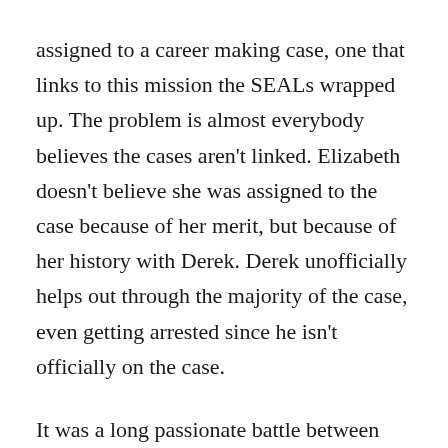assigned to a career making case, one that links to this mission the SEALs wrapped up. The problem is almost everybody believes the cases aren't linked. Elizabeth doesn't believe she was assigned to the case because of her merit, but because of her history with Derek. Derek unofficially helps out through the majority of the case, even getting arrested since he isn't officially on the case.
It was a long passionate battle between Elizabeth and Derek between getting him cleared of any wrongdoing in the case and their romantic interest in each other. This book was one of the more enjoyable in the series for me. I really enjoy when Griffin decides to revisit characters she's set up in previous segments of the storylines. It demonstrates that she's really in tune with